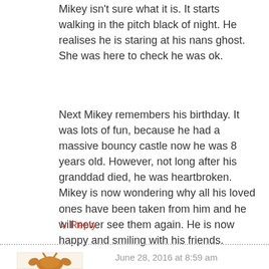Mikey isn't sure what it is. It starts walking in the pitch black of night. He realises he is staring at his nans ghost. She was here to check he was ok.
Next Mikey remembers his birthday. It was lots of fun, because he had a massive bouncy castle now he was 8 years old. However, not long after his granddad died, he was heartbroken. Mikey is now wondering why all his loved ones have been taken from him and he will never see them again. He is now happy and smiling with his friends.
↳ Reply
June 28, 2016 at 8:59 am